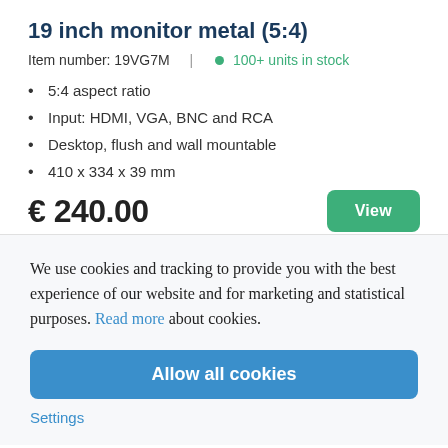19 inch monitor metal (5:4)
Item number: 19VG7M  |  • 100+ units in stock
5:4 aspect ratio
Input: HDMI, VGA, BNC and RCA
Desktop, flush and wall mountable
410 x 334 x 39 mm
€ 240.00
We use cookies and tracking to provide you with the best experience of our website and for marketing and statistical purposes. Read more about cookies.
Allow all cookies
Settings